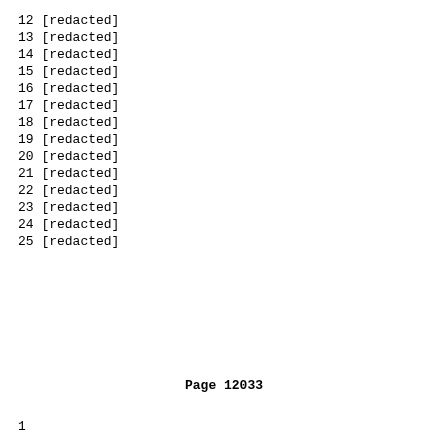12 [redacted]
13 [redacted]
14 [redacted]
15 [redacted]
16 [redacted]
17 [redacted]
18 [redacted]
19 [redacted]
20 [redacted]
21 [redacted]
22 [redacted]
23 [redacted]
24 [redacted]
25 [redacted]
Page 12033
1